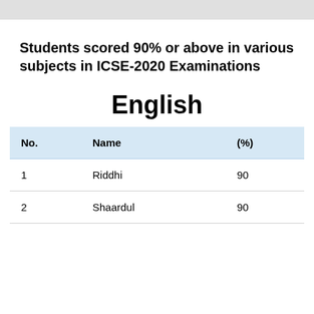Students scored 90% or above in various subjects in ICSE-2020 Examinations
English
| No. | Name | (%) |
| --- | --- | --- |
| 1 | Riddhi | 90 |
| 2 | Shaardul | 90 |